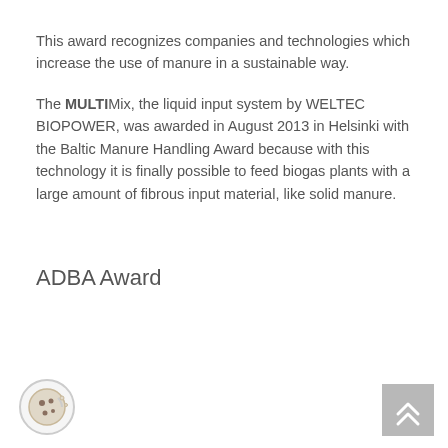This award recognizes companies and technologies which increase the use of manure in a sustainable way.
The MULTIMix, the liquid input system by WELTEC BIOPOWER, was awarded in August 2013 in Helsinki with the Baltic Manure Handling Award because with this technology it is finally possible to feed biogas plants with a large amount of fibrous input material, like solid manure.
ADBA Award
[Figure (illustration): Cookie consent icon — circular badge with cookie and dots]
[Figure (illustration): Scroll-to-top button — grey square with double upward chevron arrows]